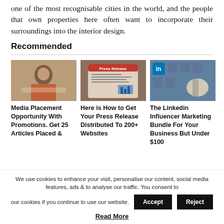one of the most recognisable cities in the world, and the people that own properties here often want to incorporate their surroundings into the interior design.
Recommended
[Figure (photo): Woman smiling, working at a table with art supplies]
[Figure (photo): Tablet showing a Press Release document with chart]
[Figure (photo): Hand pointing at LinkedIn and social media icons]
Media Placement Opportunity With Promotions. Get 25 Articles Placed &
Here is How to Get Your Press Release Distributed To 200+ Websites
The Linkedin Influencer Marketing Bundle For Your Business But Under $100
We use cookies to enhance your visit, personalise our content, social media features, ads & to analyse our traffic. You consent to our cookies if you continue to use our website.
Read More